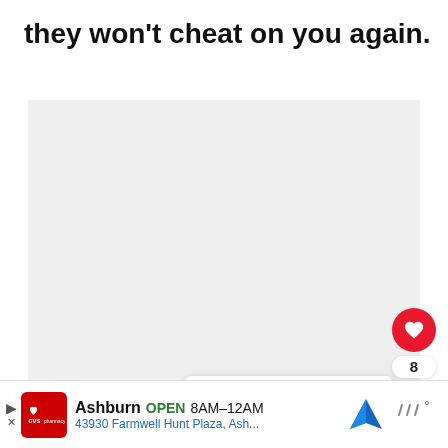they won't cheat on you again.
[Figure (other): Large light grey content area placeholder]
[Figure (infographic): Social interaction buttons: red heart/like button with count of 8, and a share button]
[Figure (infographic): What's Next panel showing a thumbnail image and text: WHAT'S NEXT → 7 Real Reasons Wh...]
[Figure (infographic): CVS Pharmacy ad bar showing: Ashburn OPEN 8AM-12AM, 43930 Farmwell Hunt Plaza, Ash..., with map icon and weather widget]